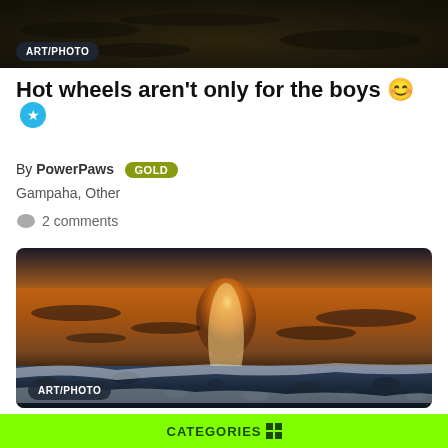[Figure (photo): Dark top cropped photo showing water/wet surface with dark tones]
ART/PHOTO
Hot wheels aren't only for the boys 😊 ⭐
By PowerPaws GOLD
Gampaha, Other
2 comments
[Figure (photo): Sunset beach photo with golden light reflecting on water and waves with pebbles/foam in foreground]
ART/PHOTO
CATEGORIES